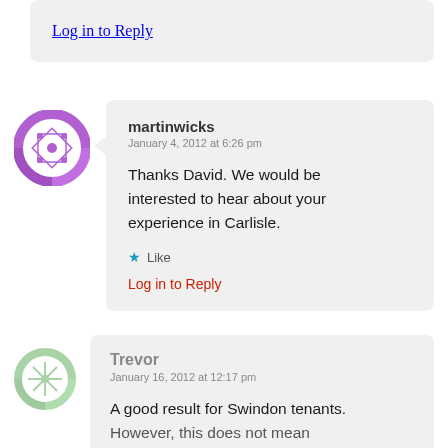Log in to Reply
[Figure (illustration): Purple decorative avatar icon with geometric diamond/star pattern]
martinwicks
January 4, 2012 at 6:26 pm

Thanks David. We would be interested to hear about your experience in Carlisle.

★ Like

Log in to Reply
[Figure (illustration): Light green decorative avatar icon with geometric flower/snowflake pattern]
Trevor
January 16, 2012 at 12:17 pm

A good result for Swindon tenants.
However, this does not mean...